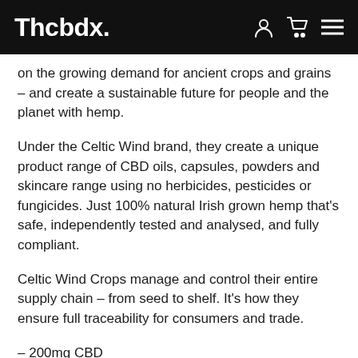Thcbdx.
on the growing demand for ancient crops and grains – and create a sustainable future for people and the planet with hemp.
Under the Celtic Wind brand, they create a unique product range of CBD oils, capsules, powders and skincare range using no herbicides, pesticides or fungicides. Just 100% natural Irish grown hemp that's safe, independently tested and analysed, and fully compliant.
Celtic Wind Crops manage and control their entire supply chain – from seed to shelf. It's how they ensure full traceability for consumers and trade.
– 200mg CBD
– 100ml of Body Oil